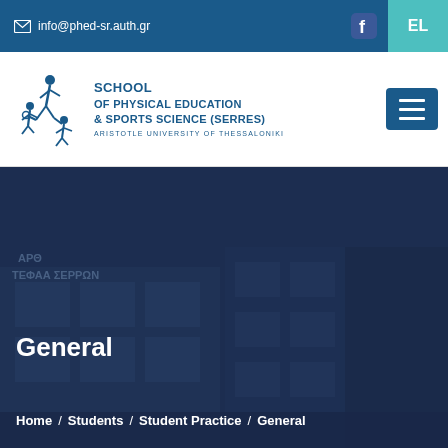info@phed-sr.auth.gr  EL
[Figure (logo): School of Physical Education & Sports Science (Serres), Aristotle University of Thessaloniki logo with athlete figures]
[Figure (photo): Dark blue tinted photo of a university building with Greek text signage (ΑΡΘ ΤΕΦΑΑ ΣΕΡΡΩΝ)]
General
Home  /  Students  /  Student Practice  /  General